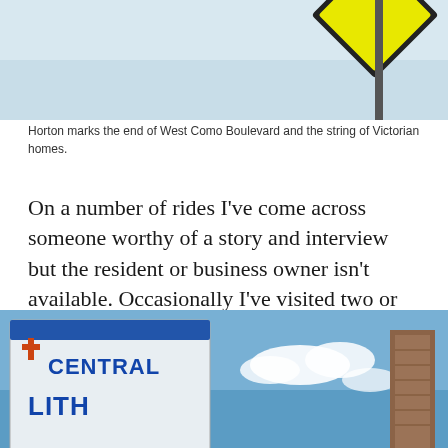[Figure (photo): Top portion of a street sign with a yellow diamond warning sign visible against a light blue sky]
Horton marks the end of West Como Boulevard and the string of Victorian homes.
On a number of rides I've come across someone worthy of a story and interview but the resident or business owner isn't available. Occasionally I've visited two or three times with no luck, so in those cases I'll make an appointment. That's the situation today; I have an appointment in Highland Park, so I'm off to Lexington Parkway to go south.
[Figure (photo): Bottom portion showing a sign for Central Lutheran church against a blue sky with clouds, and a brick tower visible on the right]